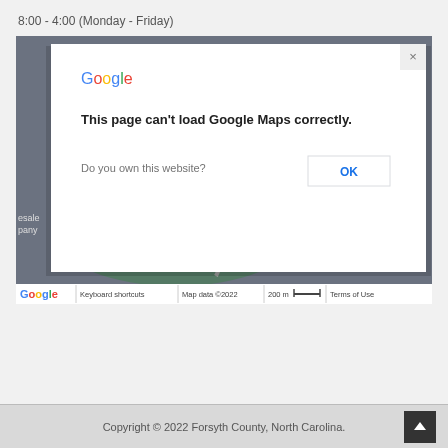8:00 - 4:00 (Monday - Friday)
[Figure (screenshot): Google Maps embedded map showing NC Cooperative Extension, Forsyth county area with an error dialog overlay saying 'This page can't load Google Maps correctly.' with a 'Do you own this website?' question and an OK button. Map footer shows Keyboard shortcuts, Map data ©2022, 200 m scale, Terms of Use.]
Copyright © 2022 Forsyth County, North Carolina.